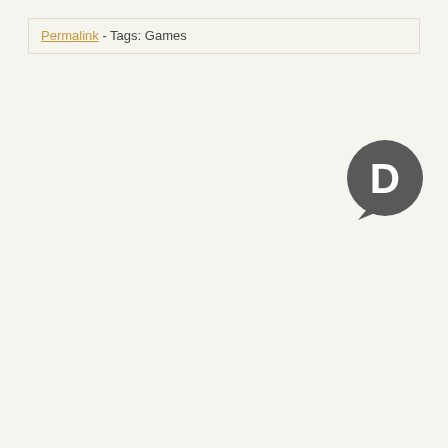Permalink - Tags: Games
[Figure (logo): Disqus comment bubble logo icon in dark gray with a white 'D' letter inside a speech bubble shape]